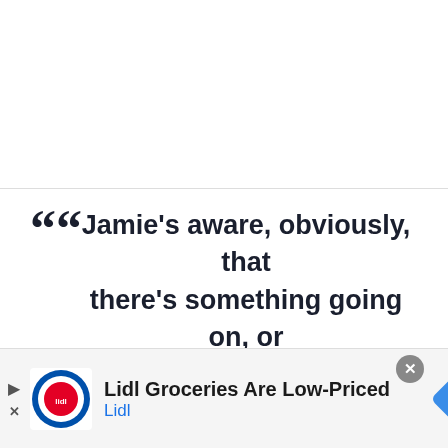Jamie's aware, obviously, that there's something going on, or he certainly suspects, but also wants to give her time and space. He knows that she will come to him or talk to him about it, if and when the time
[Figure (other): Lidl advertisement banner: Lidl logo, text 'Lidl Groceries Are Low-Priced', subtitle 'Lidl', navigation arrow icon, play/close controls]